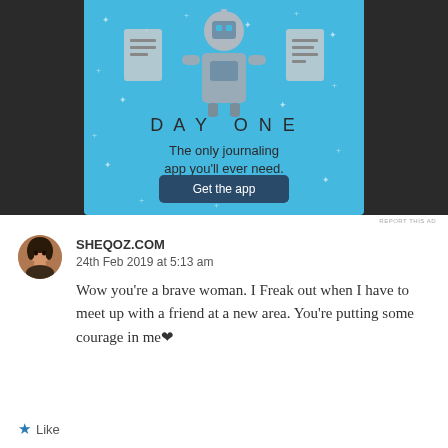[Figure (screenshot): DAY ONE journaling app advertisement with blue background, robot/character illustration, 'DAY ONE' title text, 'The only journaling app you'll ever need.' subtitle, and 'Get the app' button]
REPORT THIS AD
SHEQOZ.COM
24th Feb 2019 at 5:13 am
Wow you’re a brave woman. I Freak out when I have to meet up with a friend at a new area. You’re putting some courage in me❤
★ Like